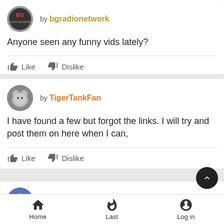[Figure (other): User avatar for bgradionetwork with BG logo on dark circle]
by bgradionetwork
Anyone seen any funny vids lately?
Like   Dislike
[Figure (other): User avatar for TigerTankFan showing a cat]
by TigerTankFan
I have found a few but forgot the links. I will try and post them on here when I can,
Like   Dislike
[Figure (other): User avatar for DJAaronRadio]
by DJAaronRadio
Home   Last   Log in